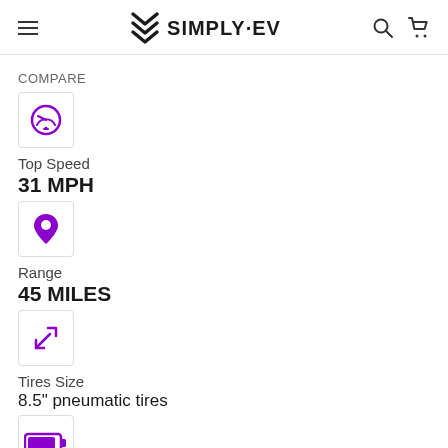SIMPLY·EV
COMPARE
[Figure (illustration): Purple speedometer icon in a bordered box]
Top Speed
31 MPH
[Figure (illustration): Purple map pin / location icon in a bordered box]
Range
45 MILES
[Figure (illustration): Purple resize / expand arrows icon in a bordered box]
Tires Size
8.5" pneumatic tires
[Figure (illustration): Purple battery icon in a bordered box]